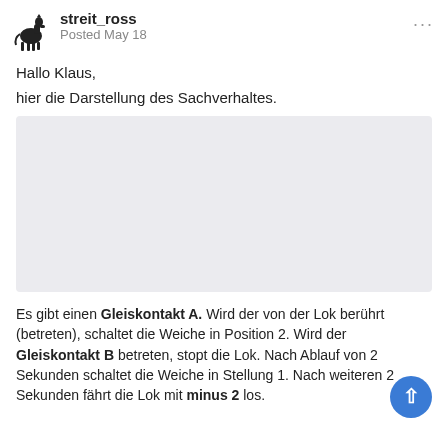streit_ross
Posted May 18
Hallo Klaus,
hier die Darstellung des Sachverhaltes.
[Figure (other): Light grey/blue rectangular image placeholder area]
Es gibt einen Gleiskontakt A. Wird der von der Lok berührt (betreten), schaltet die Weiche in Position 2. Wird der Gleiskontakt B betreten, stopt die Lok. Nach Ablauf von 2 Sekunden schaltet die Weiche in Stellung 1. Nach weiteren 2 Sekunden fährt die Lok mit minus 2 los.